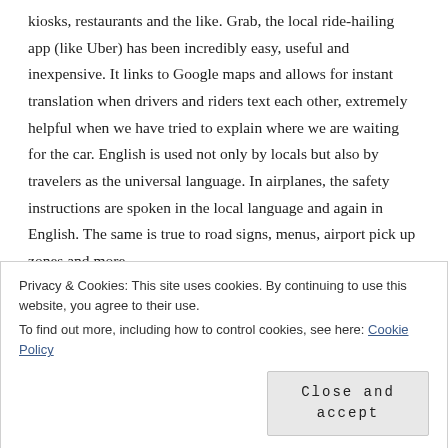kiosks, restaurants and the like. Grab, the local ride-hailing app (like Uber) has been incredibly easy, useful and inexpensive. It links to Google maps and allows for instant translation when drivers and riders text each other, extremely helpful when we have tried to explain where we are waiting for the car. English is used not only by locals but also by travelers as the universal language. In airplanes, the safety instructions are spoken in the local language and again in English. The same is true to road signs, menus, airport pick up zones and more.
On the rare occasion when our spoken language and hand gesturing doesn't work, we pull out Google translate, share our translation
Privacy & Cookies: This site uses cookies. By continuing to use this website, you agree to their use.
To find out more, including how to control cookies, see here: Cookie Policy
Close and accept